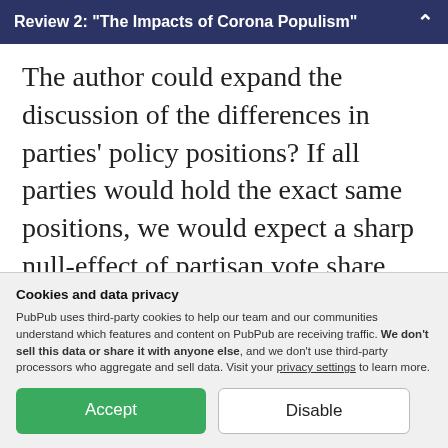Review 2: "The Impacts of Corona Populism"
The author could expand the discussion of the differences in parties' policy positions? If all parties would hold the exact same positions, we would expect a sharp null-effect of partisan vote share when all parties are in line with the government's policies. But this does not hold empirically. The results suggest that the FPÖ
Cookies and data privacy
PubPub uses third-party cookies to help our team and our communities understand which features and content on PubPub are receiving traffic. We don't sell this data or share it with anyone else, and we don't use third-party processors who aggregate and sell data. Visit your privacy settings to learn more.